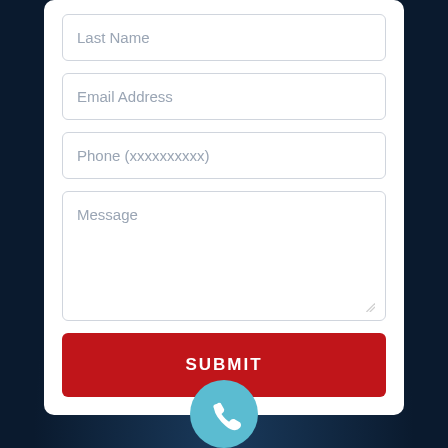[Figure (screenshot): Contact form partial view showing Last Name, Email Address, Phone, Message fields and a red SUBMIT button, with a dark navy background showing a phone graphic and a light blue phone icon bubble at the bottom]
Last Name
Email Address
Phone (xxxxxxxxxx)
Message
SUBMIT